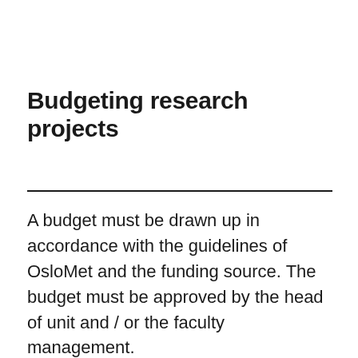Budgeting research projects
A budget must be drawn up in accordance with the guidelines of OsloMet and the funding source. The budget must be approved by the head of unit and / or the faculty management.